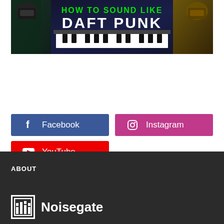[Figure (screenshot): YouTube thumbnail showing 'HOW TO SOUND LIKE DAFT PUNK' with two figures in robot helmets flanking a keyboard]
Facebook
Instagram
YouTube
ABOUT
[Figure (logo): Noisegate logo with stylized N icon and text 'Noisegate']